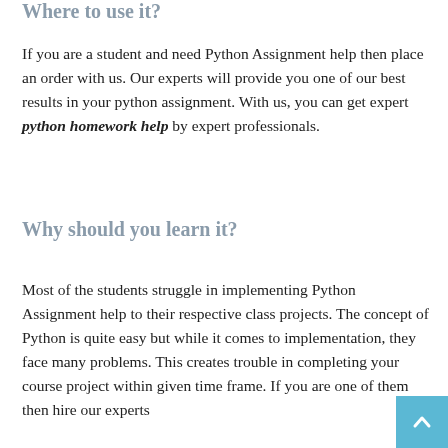Where to use it?
If you are a student and need Python Assignment help then place an order with us. Our experts will provide you one of our best results in your python assignment. With us, you can get expert python homework help by expert professionals.
Why should you learn it?
Most of the students struggle in implementing Python Assignment help to their respective class projects. The concept of Python is quite easy but while it comes to implementation, they face many problems. This creates trouble in completing your course project within given time frame. If you are one of them then hire our experts